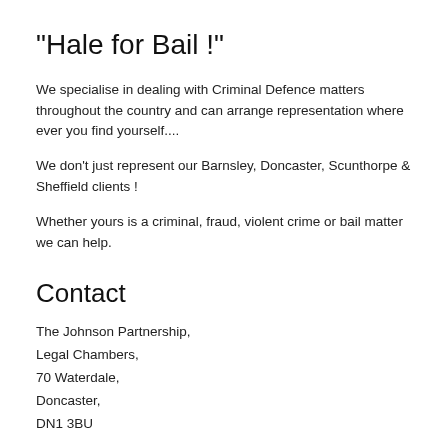"Hale for Bail !"
We specialise in dealing with Criminal Defence matters throughout the country and can arrange representation where ever you find yourself....
We don't just represent our Barnsley, Doncaster, Scunthorpe & Sheffield clients !
Whether yours is a criminal, fraud, violent crime or bail matter we can help.
Contact
The Johnson Partnership,
Legal Chambers,
70 Waterdale,
Doncaster,
DN1 3BU
mail@thej...hip.co.uk
01159 419141